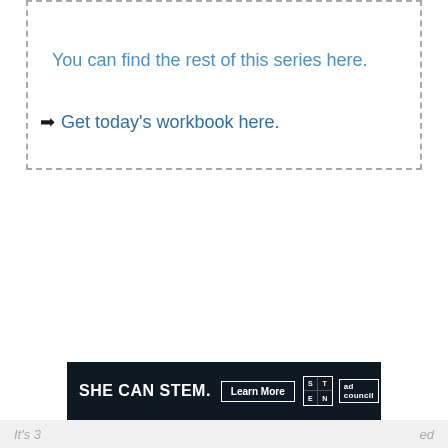You can find the rest of this series here.
➡ Get today's workbook here.
[Figure (infographic): Advertisement banner with dark background reading 'SHE CAN STEM.' with a 'Learn More' button, STEM logo grid, and ad council logo]
It's 3... ...ed